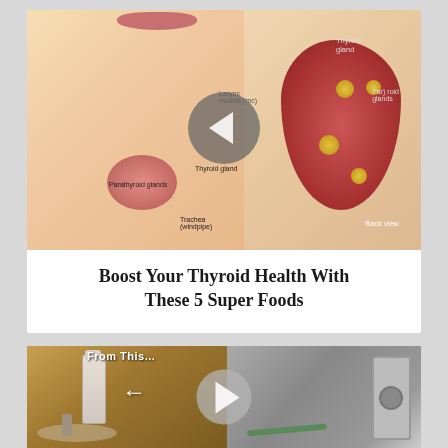[Figure (illustration): Medical illustration of the thyroid gland anatomy showing a human neck with labeled parathyroid glands, thyroid gland, trachea (windpipe), and a back-view diagram of the thyroid gland with yellow nodules. A navigation left-chevron circle overlay is present.]
Boost Your Thyroid Health With These 5 Super Foods
[Figure (photo): A partially visible image showing a bathroom counter with a Johnson's bottle and various items on the left, a navigation right-chevron circle in the center, and what appears to be a door lock mechanism on the right. Text overlay reads 'From This...']